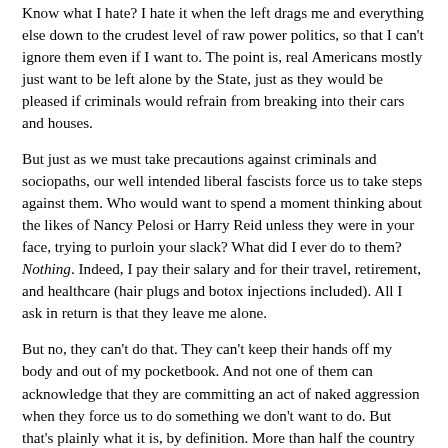Know what I hate? I hate it when the left drags me and everything else down to the crudest level of raw power politics, so that I can't ignore them even if I want to. The point is, real Americans mostly just want to be left alone by the State, just as they would be pleased if criminals would refrain from breaking into their cars and houses.
But just as we must take precautions against criminals and sociopaths, our well intended liberal fascists force us to take steps against them. Who would want to spend a moment thinking about the likes of Nancy Pelosi or Harry Reid unless they were in your face, trying to purloin your slack? What did I ever do to them? Nothing. Indeed, I pay their salary and for their travel, retirement, and healthcare (hair plugs and botox injections included). All I ask in return is that they leave me alone.
But no, they can't do that. They can't keep their hands off my body and out of my pocketbook. And not one of them can acknowledge that they are committing an act of naked aggression when they force us to do something we don't want to do. But that's plainly what it is, by definition. More than half the country experiencing this already, on the one The